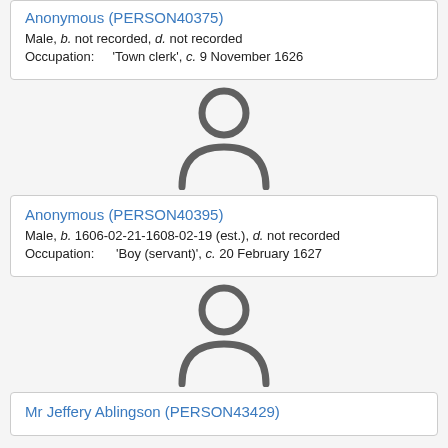| Anonymous (PERSON40375) |
| Male, b. not recorded, d. not recorded |
| Occupation:    'Town clerk', c. 9 November 1626 |
[Figure (illustration): Generic person/user silhouette icon in dark gray]
| Anonymous (PERSON40395) |
| Male, b. 1606-02-21-1608-02-19 (est.), d. not recorded |
| Occupation:    'Boy (servant)', c. 20 February 1627 |
[Figure (illustration): Generic person/user silhouette icon in dark gray]
| Mr Jeffery Ablingson (PERSON43429) |